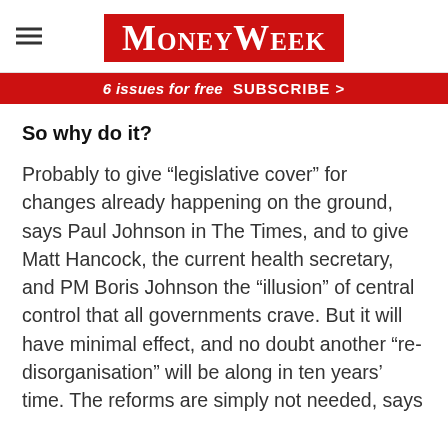MoneyWeek
6 issues for free  SUBSCRIBE >
So why do it?
Probably to give “legislative cover” for changes already happening on the ground, says Paul Johnson in The Times, and to give Matt Hancock, the current health secretary, and PM Boris Johnson the “illusion” of central control that all governments crave. But it will have minimal effect, and no doubt another “re-disorganisation” will be along in ten years’ time. The reforms are simply not needed, says